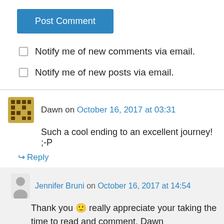Post Comment
Notify me of new comments via email.
Notify me of new posts via email.
Dawn on October 16, 2017 at 03:31
Such a cool ending to an excellent journey! ;-P
Reply
Jennifer Bruni on October 16, 2017 at 14:54
Thank you 🙂 really appreciate your taking the time to read and comment. Dawn